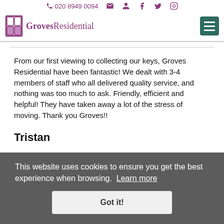☎ 020 8949 0094
[Figure (logo): Groves Residential logo with stylized door icon and purple text]
From our first viewing to collecting our keys, Groves Residential have been fantastic! We dealt with 3-4 members of staff who all delivered quality service, and nothing was too much to ask. Friendly, efficient and helpful! They have taken away a lot of the stress of moving. Thank you Groves!!
Tristan
This website uses cookies to ensure you get the best experience when browsing. Learn more
Got it!